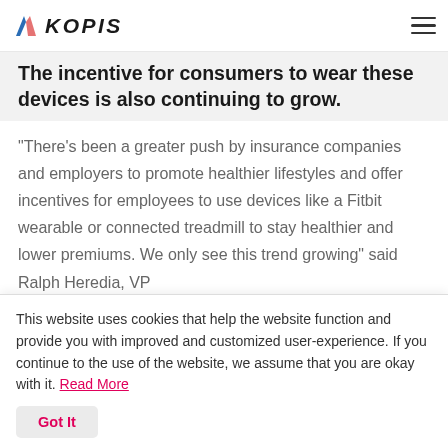KOPIS
The incentive for consumers to wear these devices is also continuing to grow.
“There’s been a greater push by insurance companies and employers to promote healthier lifestyles and offer incentives for employees to use devices like a Fitbit wearable or connected treadmill to stay healthier and lower premiums. We only see this trend growing” said Ralph Heredia, VP
This website uses cookies that help the website function and provide you with improved and customized user-experience. If you continue to the use of the website, we assume that you are okay with it. Read More
Got It